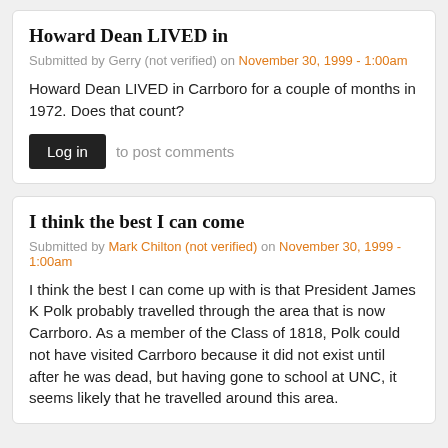Howard Dean LIVED in
Submitted by Gerry (not verified) on November 30, 1999 - 1:00am
Howard Dean LIVED in Carrboro for a couple of months in 1972. Does that count?
Log in to post comments
I think the best I can come
Submitted by Mark Chilton (not verified) on November 30, 1999 - 1:00am
I think the best I can come up with is that President James K Polk probably travelled through the area that is now Carrboro. As a member of the Class of 1818, Polk could not have visited Carrboro because it did not exist until after he was dead, but having gone to school at UNC, it seems likely that he travelled around this area.